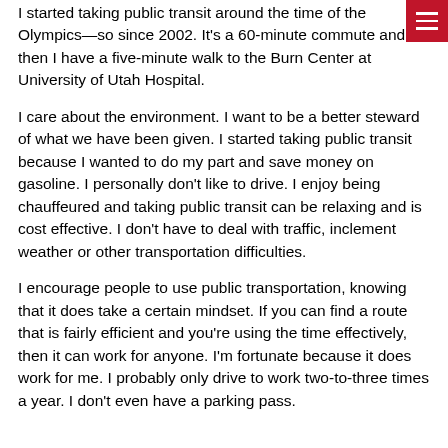I started taking public transit around the time of the Olympics—so since 2002. It's a 60-minute commute and then I have a five-minute walk to the Burn Center at University of Utah Hospital.
I care about the environment. I want to be a better steward of what we have been given. I started taking public transit because I wanted to do my part and save money on gasoline. I personally don't like to drive. I enjoy being chauffeured and taking public transit can be relaxing and is cost effective. I don't have to deal with traffic, inclement weather or other transportation difficulties.
I encourage people to use public transportation, knowing that it does take a certain mindset. If you can find a route that is fairly efficient and you're using the time effectively, then it can work for anyone. I'm fortunate because it does work for me. I probably only drive to work two-to-three times a year. I don't even have a parking pass.